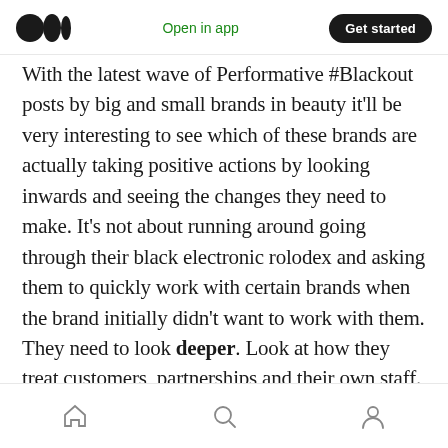Medium logo | Open in app | Get started
With the latest wave of Performative #Blackout posts by big and small brands in beauty it'll be very interesting to see which of these brands are actually taking positive actions by looking inwards and seeing the changes they need to make. It's not about running around going through their black electronic rolodex and asking them to quickly work with certain brands when the brand initially didn't want to work with them. They need to look deeper. Look at how they treat customers, partnerships and their own staff.
Home | Search | Profile